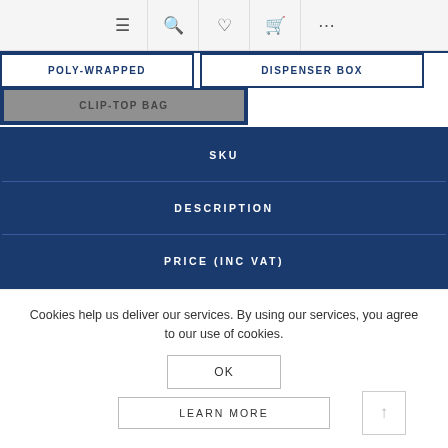Navigation icons: menu, search, heart, cart, more
POLY-WRAPPED
DISPENSER BOX
CLIP-TOP BAG
| SKU | DESCRIPTION | PRICE (INC VAT) |
| --- | --- | --- |
Cookies help us deliver our services. By using our services, you agree to our use of cookies.
OK
LEARN MORE